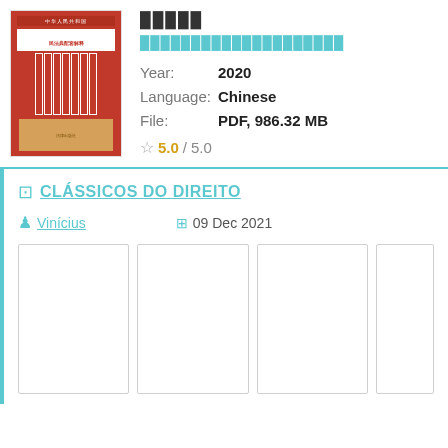[Figure (photo): Book cover image showing a set of books with red and tan/brown colored spines, Chinese text on the cover]
█████
████████████████████
Year:  2020
Language:  Chinese
File:  PDF, 986.32 MB
5.0 / 5.0
CLÁSSICOS DO DIREITO
Vinícius
09 Dec 2021
[Figure (screenshot): Four card/thumbnail placeholders in a row, empty white rectangles with borders]